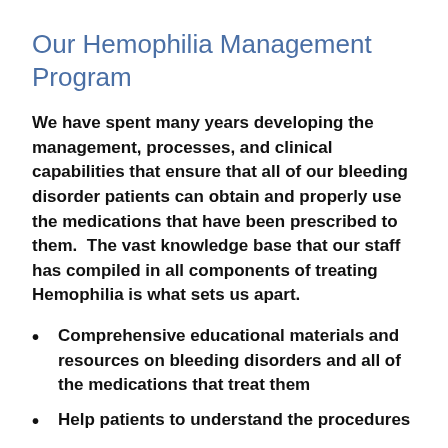Our Hemophilia Management Program
We have spent many years developing the management, processes, and clinical capabilities that ensure that all of our bleeding disorder patients can obtain and properly use the medications that have been prescribed to them.  The vast knowledge base that our staff has compiled in all components of treating Hemophilia is what sets us apart.
Comprehensive educational materials and resources on bleeding disorders and all of the medications that treat them
Help patients to understand the procedures...